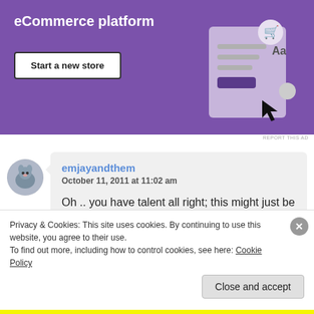[Figure (screenshot): Purple eCommerce platform advertisement banner with 'eCommerce platform' title, 'Start a new store' button, and an illustration of a shopping cart and webpage mockup]
REPORT THIS AD
[Figure (photo): Avatar photo of a small animal or toy figure used as commenter profile picture]
emjayandthem
October 11, 2011 at 11:02 am

Oh .. you have talent all right; this might just be my favorite piece of yours – so heartfelt. Cheers! MJ

Reply
Privacy & Cookies: This site uses cookies. By continuing to use this website, you agree to their use.
To find out more, including how to control cookies, see here: Cookie Policy
Close and accept